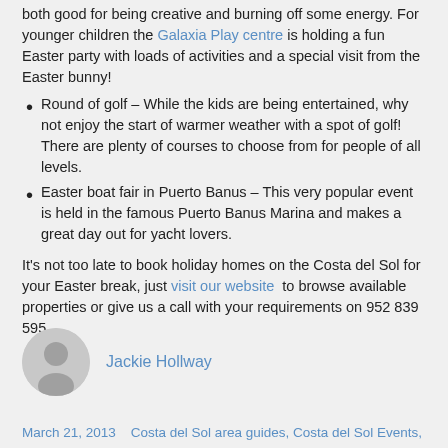both good for being creative and burning off some energy. For younger children the Galaxia Play centre is holding a fun Easter party with loads of activities and a special visit from the Easter bunny!
Round of golf – While the kids are being entertained, why not enjoy the start of warmer weather with a spot of golf! There are plenty of courses to choose from for people of all levels.
Easter boat fair in Puerto Banus – This very popular event is held in the famous Puerto Banus Marina and makes a great day out for yacht lovers.
It's not too late to book holiday homes on the Costa del Sol for your Easter break, just visit our website to browse available properties or give us a call with your requirements on 952 839 595.
Jackie Hollway
March 21, 2013    Costa del Sol area guides, Costa del Sol Events,